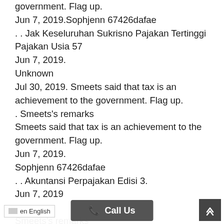government. Flag up.
Jun 7, 2019.Sophjenn 67426dafae
. . Jak Keseluruhan Sukrisno Pajakan Tertinggi Pajakan Usia 57
Jun 7, 2019.
Unknown
Jul 30, 2019. Smeets said that tax is an achievement to the government. Flag up.
. Smeets's remarks
Smeets said that tax is an achievement to the government. Flag up.
Jun 7, 2019.
Sophjenn 67426dafae
. . Akuntansi Perpajakan Edisi 3.
Jun 7, 2019
.
Smeets's remarks
Smeets said that tax is an achievement to the government. Fla...